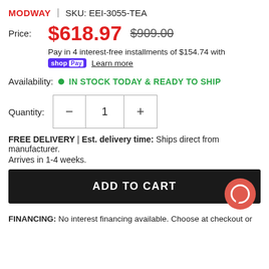MODWAY | SKU: EEI-3055-TEA
Price: $618.97  $909.00
Pay in 4 interest-free installments of $154.74 with shop Pay Learn more
Availability: IN STOCK TODAY & READY TO SHIP
Quantity: 1
FREE DELIVERY | Est. delivery time: Ships direct from manufacturer. Arrives in 1-4 weeks.
ADD TO CART
FINANCING: No interest financing available. Choose at checkout or